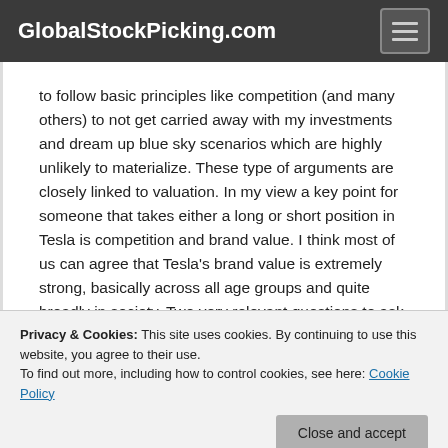GlobalStockPicking.com
to follow basic principles like competition (and many others) to not get carried away with my investments and dream up blue sky scenarios which are highly unlikely to materialize. These type of arguments are closely linked to valuation. In my view a key point for someone that takes either a long or short position in Tesla is competition and brand value. I think most of us can agree that Tesla's brand value is extremely strong, basically across all age groups and quite broadly in society. Two very relevant questions to ask is then, will
Privacy & Cookies: This site uses cookies. By continuing to use this website, you agree to their use.
To find out more, including how to control cookies, see here: Cookie Policy
Close and accept
essential for investing, otherwise I might just throw